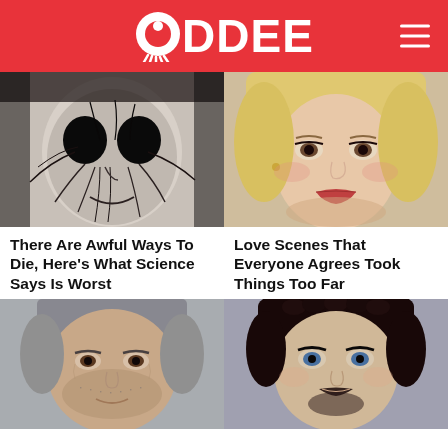ODDEE
[Figure (photo): Black and white close-up of a person with dark cracked skin texture and blackened eyes, horror-style image]
There Are Awful Ways To Die, Here's What Science Says Is Worst
[Figure (photo): Close-up portrait of a blonde woman with glamorous makeup and red lips]
Love Scenes That Everyone Agrees Took Things Too Far
[Figure (photo): Close-up portrait of a middle-aged man with grey hair and stubble]
[Figure (photo): Close-up portrait of a dark-haired man with blue eyes and a mustache/beard]